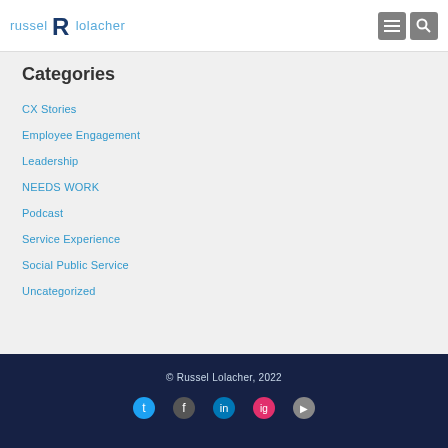russel R lolacher
Categories
CX Stories
Employee Engagement
Leadership
NEEDS WORK
Podcast
Service Experience
Social Public Service
Uncategorized
© Russel Lolacher, 2022